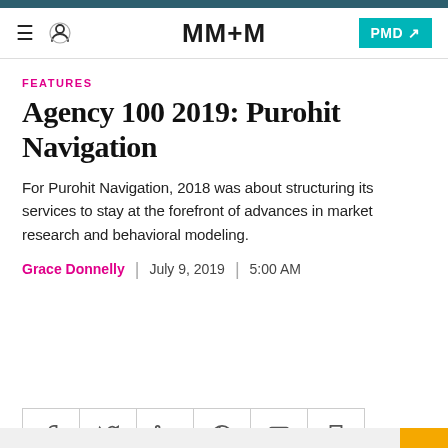MM+M | PMD
FEATURES
Agency 100 2019: Purohit Navigation
For Purohit Navigation, 2018 was about structuring its services to stay at the forefront of advances in market research and behavioral modeling.
Grace Donnelly | July 9, 2019 | 5:00 AM